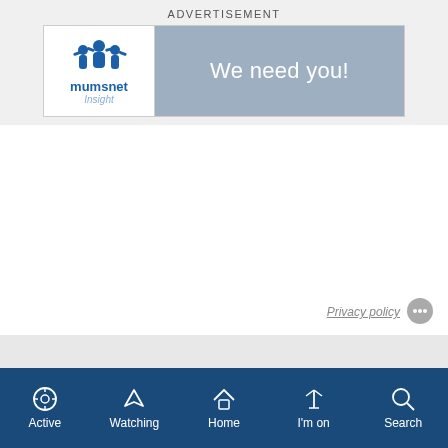ADVERTISEMENT
[Figure (screenshot): Mumsnet Insight advertisement banner with logo on left and 'We need you!' text on gray background on right]
Privacy policy
Active  Watching  Home  I'm on  Search